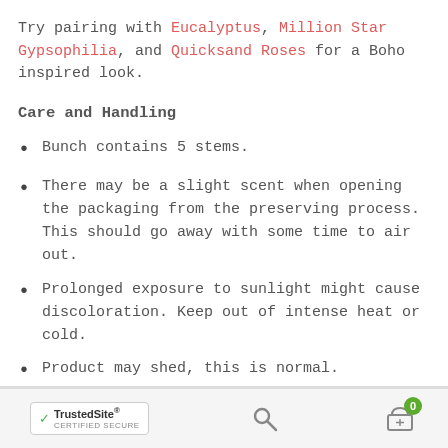Try pairing with Eucalyptus, Million Star Gypsophilia, and Quicksand Roses for a Boho inspired look.
Care and Handling
Bunch contains 5 stems.
There may be a slight scent when opening the packaging from the preserving process. This should go away with some time to air out.
Prolonged exposure to sunlight might cause discoloration. Keep out of intense heat or cold.
Product may shed, this is normal.
Since flowers are a product of Mother Nature and due
TrustedSite CERTIFIED SECURE | Search | Cart (0)